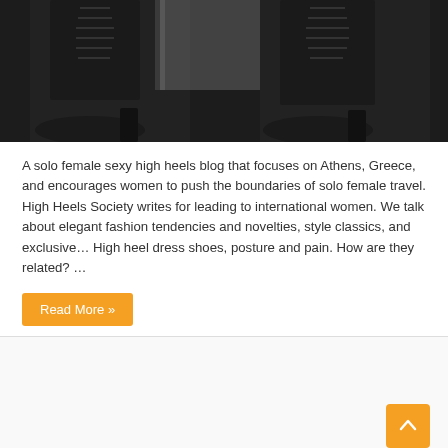[Figure (photo): Close-up photo of black lace-up high heel boots against a light background]
A solo female sexy high heels blog that focuses on Athens, Greece, and encourages women to push the boundaries of solo female travel. High Heels Society writes for leading to international women. We talk about elegant fashion tendencies and novelties, style classics, and exclusive… High heel dress shoes, posture and pain. How are they related? …
Read More »